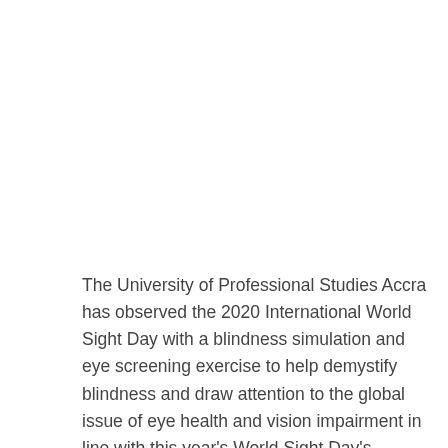The University of Professional Studies Accra has observed the 2020 International World Sight Day with a blindness simulation and eye screening exercise to help demystify blindness and draw attention to the global issue of eye health and vision impairment in line with this year's World Sight Day's